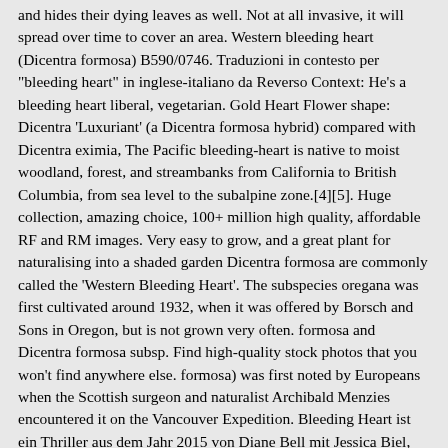and hides their dying leaves as well. Not at all invasive, it will spread over time to cover an area. Western bleeding heart (Dicentra formosa) B590/0746. Traduzioni in contesto per "bleeding heart" in inglese-italiano da Reverso Context: He's a bleeding heart liberal, vegetarian. Gold Heart Flower shape: Dicentra 'Luxuriant' (a Dicentra formosa hybrid) compared with Dicentra eximia, The Pacific bleeding-heart is native to moist woodland, forest, and streambanks from California to British Columbia, from sea level to the subalpine zone.[4][5]. Huge collection, amazing choice, 100+ million high quality, affordable RF and RM images. Very easy to grow, and a great plant for naturalising into a shaded garden Dicentra formosa are commonly called the 'Western Bleeding Heart'. The subspecies oregana was first cultivated around 1932, when it was offered by Borsch and Sons in Oregon, but is not grown very often. formosa and Dicentra formosa subsp. Find high-quality stock photos that you won't find anywhere else. formosa) was first noted by Europeans when the Scottish surgeon and naturalist Archibald Menzies encountered it on the Vancouver Expedition. Bleeding Heart ist ein Thriller aus dem Jahr 2015 von Diane Bell mit Jessica Biel, Zosia Mamet und Joe Anderson.. It is great plant to include in your pollinator garden. There are two subspecies, Dicentra